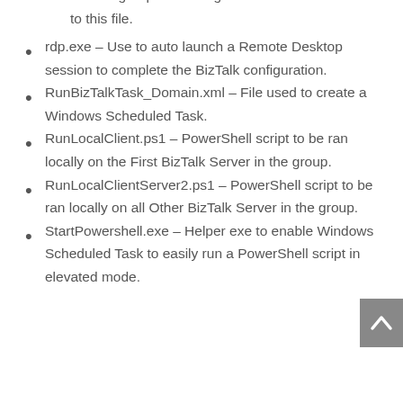BizTalk group. No changes are needed to this file.
rdp.exe – Use to auto launch a Remote Desktop session to complete the BizTalk configuration.
RunBizTalkTask_Domain.xml – File used to create a Windows Scheduled Task.
RunLocalClient.ps1 – PowerShell script to be ran locally on the First BizTalk Server in the group.
RunLocalClientServer2.ps1 – PowerShell script to be ran locally on all Other BizTalk Server in the group.
StartPowershell.exe – Helper exe to enable Windows Scheduled Task to easily run a PowerShell script in elevated mode.